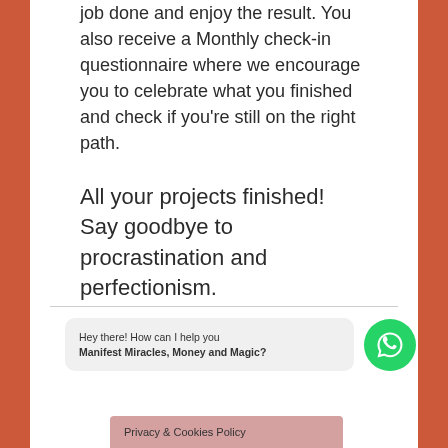job done and enjoy the result. You also receive a Monthly check-in questionnaire where we encourage you to celebrate what you finished and check if you're still on the right path.
All your projects finished! Say goodbye to procrastination and perfectionism.
Hey there! How can I help you Manifest Miracles, Money and Magic?
Privacy & Cookies Policy